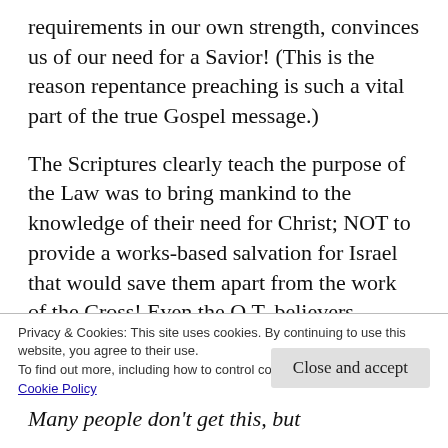requirements in our own strength, convinces us of our need for a Savior! (This is the reason repentance preaching is such a vital part of the true Gospel message.)
The Scriptures clearly teach the purpose of the Law was to bring mankind to the knowledge of their need for Christ; NOT to provide a works-based salvation for Israel that would save them apart from the work of the Cross! Even the O.T. believers needed the
Privacy & Cookies: This site uses cookies. By continuing to use this website, you agree to their use.
To find out more, including how to control cookies, see here: Cookie Policy
Close and accept
Many people don't get this, but